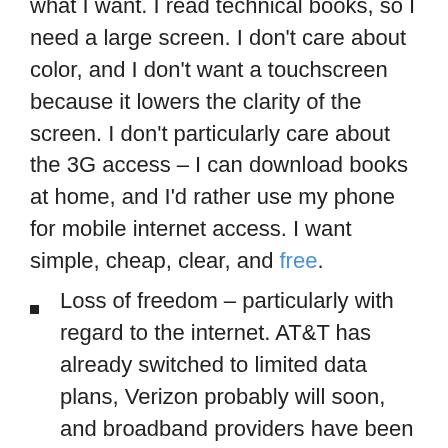what I want. I read technical books, so I need a large screen. I don't care about color, and I don't want a touchscreen because it lowers the clarity of the screen. I don't particularly care about the 3G access – I can download books at home, and I'd rather use my phone for mobile internet access. I want simple, cheap, clear, and free.
Loss of freedom – particularly with regard to the internet. AT&T has already switched to limited data plans, Verizon probably will soon, and broadband providers have been considering the switch for a while. It makes me sick that this is possible when internet access should be a human right. I know for a fact that capacity far exceeds demand at some of these companies, so it's dishonest.
3D – ugh. Movies and TV are equally bad ideas. Give me back my Virtual Boy